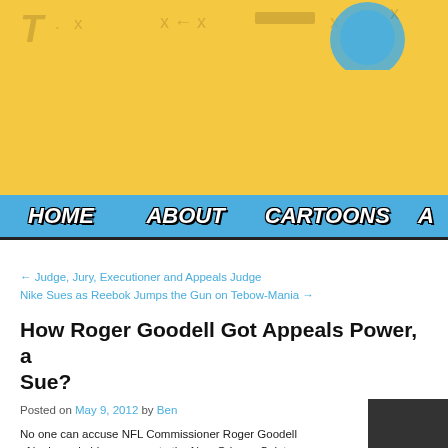[Figure (illustration): Yellow/gold banner background with faint diagonal football play diagram markings (arrows, X, T symbols) and a partial blue cartoon character visible at top right]
HOME   ABOUT   CARTOONS   A
← Judge, Jury, Executioner and Appeals Judge
Nike Sues as Reebok Jumps the Gun on Tebow-Mania →
How Roger Goodell Got Appeals Power, a Sue?
Posted on May 9, 2012 by Ben
No one can accuse NFL Commissioner Roger Goodell of leniency in his response to the New Orleans Saints bounty scandal. Four players were suspended a total of 31